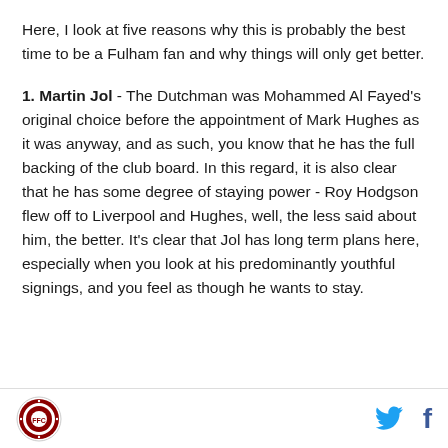Here, I look at five reasons why this is probably the best time to be a Fulham fan and why things will only get better.
1. Martin Jol - The Dutchman was Mohammed Al Fayed's original choice before the appointment of Mark Hughes as it was anyway, and as such, you know that he has the full backing of the club board. In this regard, it is also clear that he has some degree of staying power - Roy Hodgson flew off to Liverpool and Hughes, well, the less said about him, the better. It's clear that Jol has long term plans here, especially when you look at his predominantly youthful signings, and you feel as though he wants to stay.